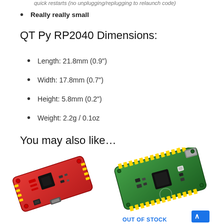quick restarts (no unplugging/replugging to relaunch code)
Really really small
QT Py RP2040 Dimensions:
Length: 21.8mm (0.9")
Width: 17.8mm (0.7")
Height: 5.8mm (0.2")
Weight: 2.2g / 0.1oz
You may also like…
[Figure (photo): Red microcontroller PCB board (SparkFun style) shown at an angle]
[Figure (photo): Green Raspberry Pi Pico-style microcontroller board shown at an angle with OUT OF STOCK label]